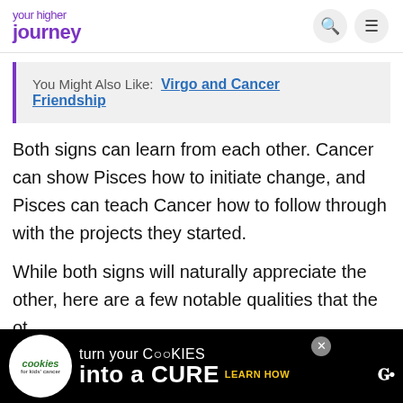your higher journey [search icon] [menu icon]
You Might Also Like:  Virgo and Cancer Friendship
Both signs can learn from each other. Cancer can show Pisces how to initiate change, and Pisces can teach Cancer how to follow through with the projects they started.
While both signs will naturally appreciate the other, here are a few notable qualities that the ot…
[Figure (infographic): Advertisement banner: 'cookies for kids cancer — turn your COOKIES into a CURE LEARN HOW' with close button and W logo]